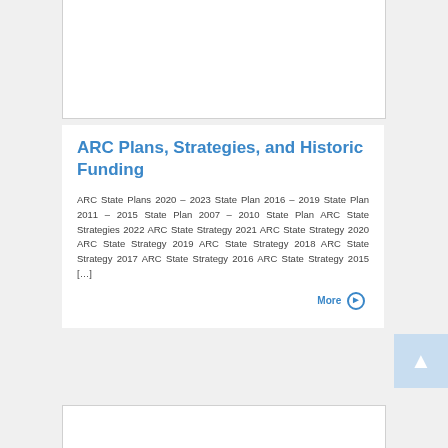ARC Plans, Strategies, and Historic Funding
ARC State Plans 2020 – 2023 State Plan 2016 – 2019 State Plan 2011 – 2015 State Plan 2007 – 2010 State Plan ARC State Strategies 2022 ARC State Strategy 2021 ARC State Strategy 2020 ARC State Strategy 2019 ARC State Strategy 2018 ARC State Strategy 2017 ARC State Strategy 2016 ARC State Strategy 2015 […]
More